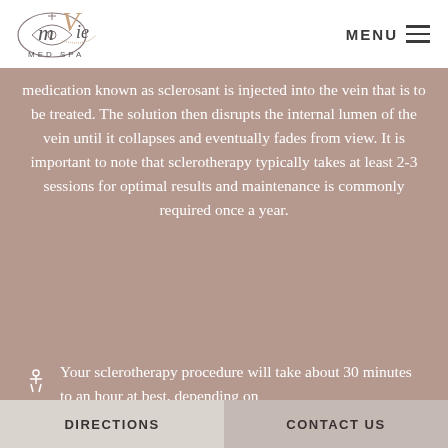Ma Vie Med Spa — MENU
medication known as sclerosant is injected into the vein that is to be treated. The solution then disrupts the internal lumen of the vein until it collapses and eventually fades from view. It is important to note that sclerotherapy typically takes at least 2-3 sessions for optimal results and maintenance is commonly required once a year.
Your sclerotherapy procedure will take about 30 minutes to an hour at best, depending on
DIRECTIONS   CONTACT US